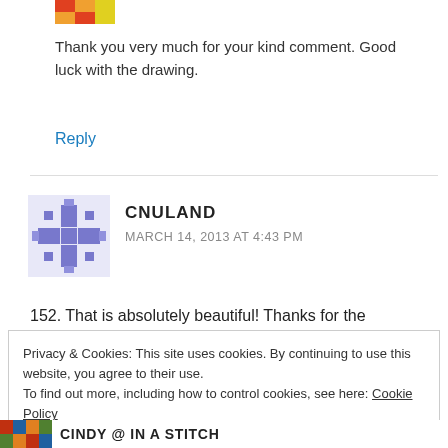[Figure (photo): Small colorful avatar image at top]
Thank you very much for your kind comment. Good luck with the drawing.
Reply
[Figure (illustration): Purple snowflake/asterisk avatar icon for CNULAND]
CNULAND
MARCH 14, 2013 AT 4:43 PM
152. That is absolutely beautiful! Thanks for the
Privacy & Cookies: This site uses cookies. By continuing to use this website, you agree to their use.
To find out more, including how to control cookies, see here: Cookie Policy
Close and accept
[Figure (photo): Small colorful quilt avatar image at bottom]
CINDY @ IN A STITCH